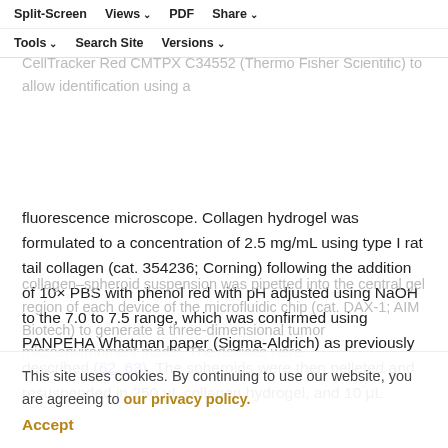Split-Screen | Views | PDF | Share | Tools | Search Site | Versions
ultra-low attachment dish (cat. 3471; Corning) and incubating at 37°C, 5% CO₂ for 24 hours. Spheroids were stained with CellTracker Red CMTPX C34552 (Thermo Fisher Scientific) to allow identification using a fluorescence microscope. Collagen hydrogel was formulated to a concentration of 2.5 mg/mL using type I rat tail collagen (cat. 354236; Corning) following the addition of 10× PBS with phenol red with pH adjusted using NaOH to the 7.0 to 7.5 range, which was confirmed using PANPEHA Whatman paper (Sigma-Aldrich) as previously described (62, 63). The spheroids were then pelleted and resuspended in 250 μL collagen hydrogel, and 10 μL
collagen–spheroid suspension was pipetted into the central gel region of each device of the microfluidic chip (cat. DAX-1; AIM Biotech) to generate a three-dimensional tumor microenvironment model. The devices were
This site uses cookies. By continuing to use our website, you are agreeing to our privacy policy. Accept